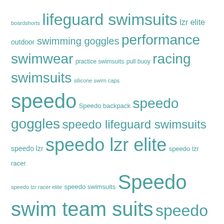[Figure (infographic): Tag cloud with swimming/speedo related keywords in teal color, varying font sizes indicating frequency/importance. Terms include: boardshorts, lifeguard swimsuits, lzr elite outdoor, swimming goggles, performance swimwear, practice swimsuits, pull buoy, racing swimsuits, silicone swim caps, speedo, Speedo backpack, speedo goggles, speedo lifeguard swimsuits, speedo lzr, speedo lzr elite, speedo lzr racer, speedo lzr racer elite, speedo swimsuits, Speedo swim team suits, speedo swimwear, speedo tech suits, Summer swim team suits, swim backpack, swim caps, swim fins, swim gear, swim goggles, swimming goggles, swim parka, swim parkas, Swimsuits, swim team dealer, swim team parkas, swim teams, swim team suits, swim training, swim training gear, swimwear team, swim caps, team swim suits, TYR, water aerobics]